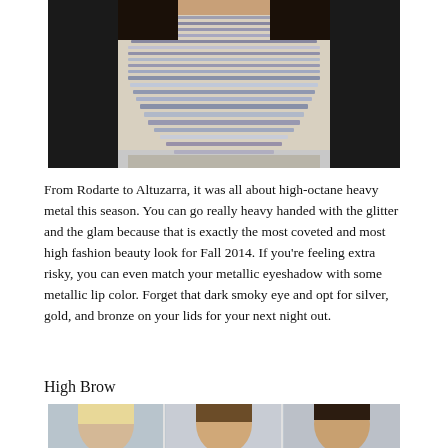[Figure (photo): Close-up photo of a person wearing a large multi-strand metallic/beaded necklace collar, with black clothing and dark hair visible]
From Rodarte to Altuzarra, it was all about high-octane heavy metal this season. You can go really heavy handed with the glitter and the glam because that is exactly the most coveted and most high fashion beauty look for Fall 2014. If you’re feeling extra risky, you can even match your metallic eyeshadow with some metallic lip color. Forget that dark smoky eye and opt for silver, gold, and bronze on your lids for your next night out.
High Brow
[Figure (photo): Bottom strip of a photo showing three people from shoulders up, partially cropped]